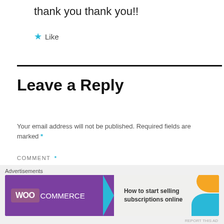thank you thank you!!
★ Like
Leave a Reply
Your email address will not be published. Required fields are marked *
COMMENT *
[Figure (screenshot): Comment text input box (empty, light grey background)]
Advertisements
[Figure (screenshot): WooCommerce advertisement banner: 'How to start selling subscriptions online']